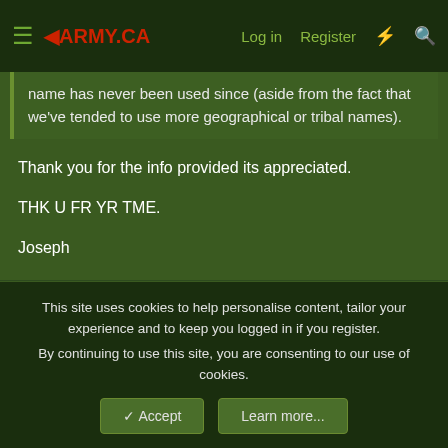ARMY.CA | Log in | Register
name has never been used since (aside from the fact that we've tended to use more geographical or tribal names).
Thank you for the info provided its appreciated.

THK U FR YR TME.

Joseph
You must log in or register to reply here.
Similar threads
This site uses cookies to help personalise content, tailor your experience and to keep you logged in if you register.
By continuing to use this site, you are consenting to our use of cookies.